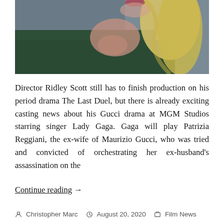[Figure (photo): Partial view of a woman with blonde hair wearing a dark green garment, photographed from below the chin, touching her neckline, against a grey background.]
Director Ridley Scott still has to finish production on his period drama The Last Duel, but there is already exciting casting news about his Gucci drama at MGM Studios starring singer Lady Gaga. Gaga will play Patrizia Reggiani, the ex-wife of Maurizio Gucci, who was tried and convicted of orchestrating her ex-husband's assassination on the
Continue reading →
Christopher Marc   August 20, 2020   Film News